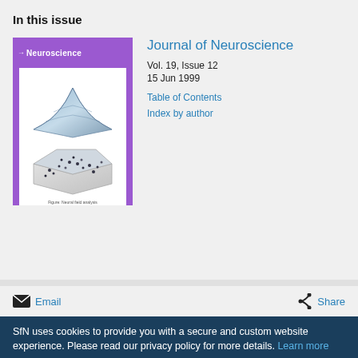In this issue
[Figure (photo): Journal of Neuroscience cover, Vol. 19 Issue 12, purple cover with white inset showing 3D neural field visualization and scatter plot diagram]
Journal of Neuroscience
Vol. 19, Issue 12
15 Jun 1999
Table of Contents
Index by author
Email
Share
SfN uses cookies to provide you with a secure and custom website experience. Please read our privacy policy for more details. Learn more
I Accept